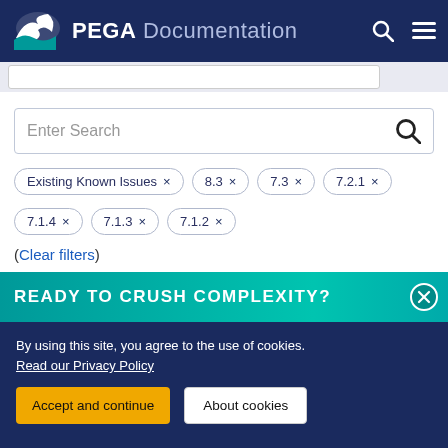PEGA Documentation
[Figure (screenshot): Search input bar partially visible at top]
[Figure (screenshot): Main search box with placeholder text 'Enter Search' and magnifying glass icon]
Existing Known Issues ×  8.3 ×  7.3 ×  7.2.1 ×  7.1.4 ×  7.1.3 ×  7.1.2 ×
(Clear filters)
READY TO CRUSH COMPLEXITY?
By using this site, you agree to the use of cookies. Read our Privacy Policy
Accept and continue   About cookies